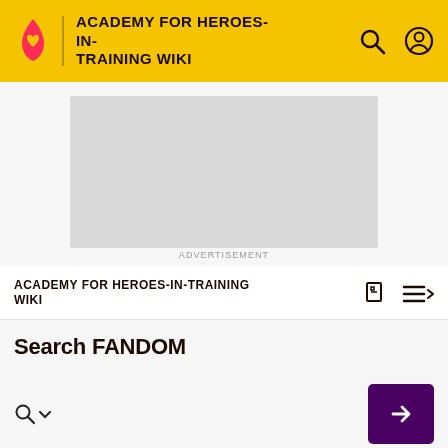ACADEMY FOR HEROES-IN-TRAINING WIKI
[Figure (other): Grey advertisement placeholder box]
ADVERTISEMENT
ACADEMY FOR HEROES-IN-TRAINING WIKI
Search FANDOM
ADVANCED
Articles  Posts  Photos and Videos  Blogs  People